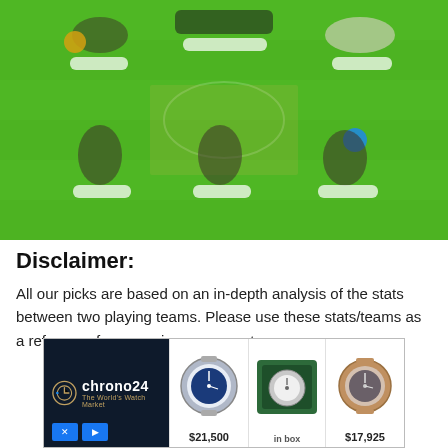[Figure (photo): Blurred screenshot of a fantasy sports team selection interface showing a green football/cricket field with player positions and blurred player name labels]
Disclaimer:
All our picks are based on an in-depth analysis of the stats between two playing teams. Please use these stats/teams as a reference for preparing your own teams.
[Figure (photo): Advertisement banner for Chrono24 The World's Watch Market showing two luxury watches priced at $21,500 and $17,925]